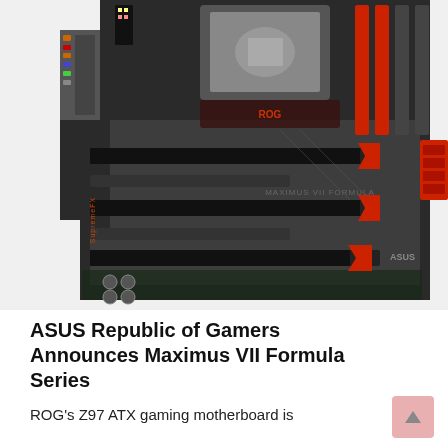[Figure (photo): ASUS Republic of Gamers Maximus VII Formula motherboard, black PCB with red accents, multiple PCIe slots with red connectors, SupremeFX branding, ROG logo, viewed from above at an angle showing expansion slots and RAM slots]
ASUS Republic of Gamers Announces Maximus VII Formula Series
ROG's Z97 ATX gaming motherboard is